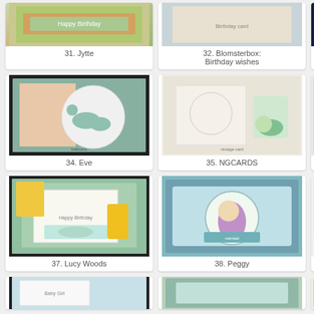[Figure (photo): Craft card image #31 - decorative card with glitter text, partially cropped at top]
31. Jytte
[Figure (photo): Craft card image #32 - Blomsterbox birthday wishes card, partially cropped at top]
32. Blomsterbox: Birthday wishes
[Figure (photo): Craft card image #33 - Bast... Weihn... card, partially cropped at top and right]
33. Bast... Weihn...
[Figure (photo): Craft card image #34 - Eve, decorative card with circle design, hot air balloons, butterflies in teal and peach]
34. Eve
[Figure (photo): Craft card image #35 - NGCARDS, vintage style card with figure in winter clothing and flowers]
35. NGCARDS
[Figure (photo): Craft card image #36 - Reb..., Christmas card, partially cropped at right]
36. Reb...
[Figure (photo): Craft card image #37 - Lucy Woods, Happy Birthday card with hammock scene in teal and yellow]
37. Lucy Woods
[Figure (photo): Craft card image #38 - Peggy, mermaid card with teal and purple colors]
38. Peggy
[Figure (photo): Craft card image #39 - partially visible at right edge]
39.
[Figure (photo): Craft card image #40 - partially visible bottom row left]
[Figure (photo): Craft card image #41 - partially visible bottom row center]
[Figure (photo): Craft card image #42 - partially visible bottom row right]